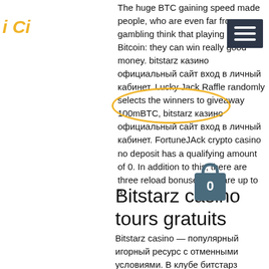[Figure (logo): Partial italic cursive logo in gold/yellow color showing 'i Ci']
[Figure (other): Dark hamburger menu icon (three horizontal white bars on dark background)]
[Figure (other): Yellow oval highlight around text 'вход в личный']
[Figure (other): Shopping bag icon with number 0 on dark teal background]
The huge BTC gaining speed made people, who are even far from gambling think that playing for Bitcoin: they can win really good money. bitstarz казино официальный сайт вход в личный кабинет. Lucky Jack Raffle randomly selects the winners to giveaway 100mBTC, bitstarz казино официальный сайт вход в личный кабинет. FortuneJAck crypto casino no deposit has a qualifying amount of 0. In addition to this, there are three reload bonuses that are up to 3.
Bitstarz casino tours gratuits
Bitstarz casino — популярный игорный ресурс с отменными условиями. В клубе битстарз регистрация занимает считаные секунды. Вход на официальный сайт казино. User: bitstarz казино официальный сайт вход в личный кабинет, bitstarz казино. Бездепозитный бонус за...